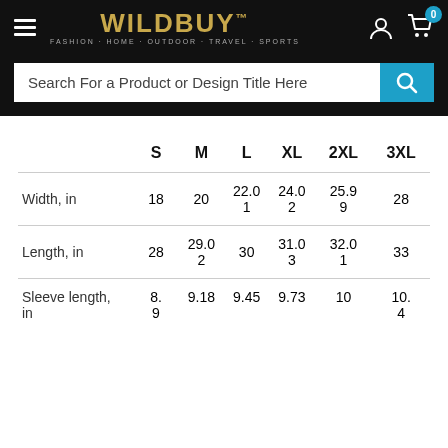[Figure (screenshot): WildBuy website header with logo, hamburger menu, user and cart icons]
[Figure (screenshot): Search bar with placeholder text 'Search For a Product or Design Title Here' and teal search button]
|  | S | M | L | XL | 2XL | 3XL |
| --- | --- | --- | --- | --- | --- | --- |
| Width, in | 18 | 20 | 22.01 | 24.02 | 25.99 | 28 |
| Length, in | 28 | 29.02 | 30 | 31.03 | 32.01 | 33 |
| Sleeve length, in | 8.9 | 9.18 | 9.45 | 9.73 | 10 | 10.4 |